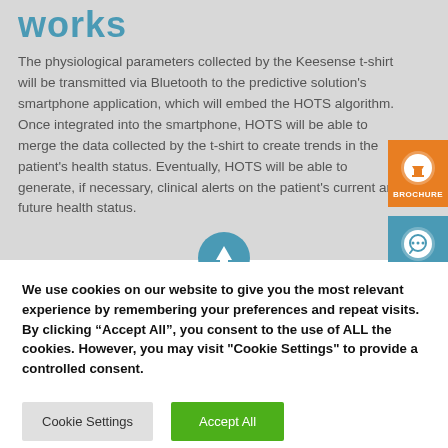works
The physiological parameters collected by the Keesense t-shirt will be transmitted via Bluetooth to the predictive solution's smartphone application, which will embed the HOTS algorithm. Once integrated into the smartphone, HOTS will be able to merge the data collected by the t-shirt to create trends in the patient's health status. Eventually, HOTS will be able to generate, if necessary, clinical alerts on the patient's current and future health status.
[Figure (illustration): Orange BROCHURE download button and teal CONTACT button on the right side of the page]
We use cookies on our website to give you the most relevant experience by remembering your preferences and repeat visits. By clicking “Accept All”, you consent to the use of ALL the cookies. However, you may visit "Cookie Settings" to provide a controlled consent.